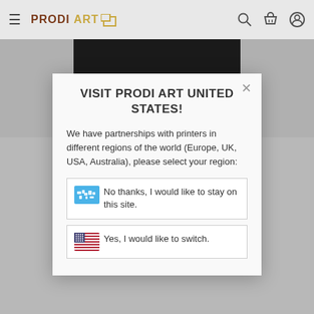PRODI ART
[Figure (screenshot): Dark background image strip, partially visible behind modal]
VISIT PRODI ART UNITED STATES!
We have partnerships with printers in different regions of the world (Europe, UK, USA, Australia), please select your region:
No thanks, I would like to stay on this site.
Yes, I would like to switch.